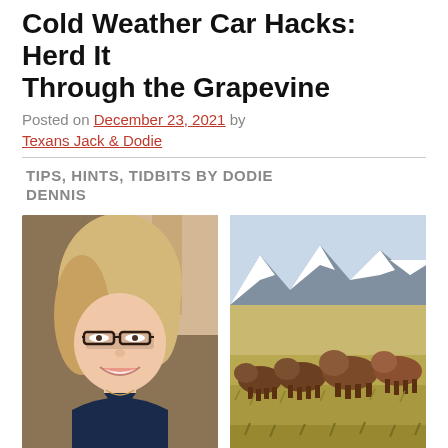Cold Weather Car Hacks: Herd It Through the Grapevine
Posted on December 23, 2021 by Texans Jack & Dodie
TIPS, HINTS, TIDBITS BY DODIE DENNIS
[Figure (photo): Portrait photo of a smiling blonde woman with glasses wearing a dark blue top]
[Figure (photo): Landscape photo of a herd of bison running across a grassland plain with snow-capped mountains in the background]